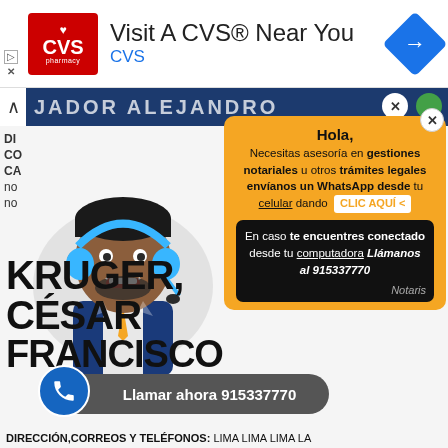[Figure (screenshot): CVS Pharmacy advertisement banner with logo, 'Visit A CVS Near You' text, CVS subtitle, and navigation icon]
[Figure (illustration): Screenshot of a notary service website showing a cartoon customer service avatar with headset, an orange popup chat widget with 'Hola, Necesitas asesoria en gestiones notariales u otros tramites legales envianos un WhatsApp desde tu celular dando CLIC AQUI', a black box with 'En caso te encuentres conectado desde tu computadora Llamanos al 915337770', a blue call button bar saying 'Llamar ahora 915337770', and partial text showing 'KRUGER, CESAR FRANCISCO' and 'DIRECCION, CORREOS Y TELEFONOS: LIMA LIMA LIMA LA']